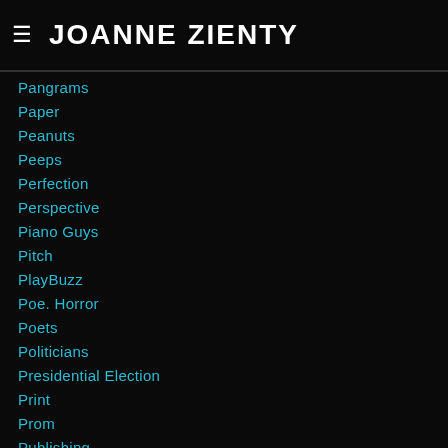JOANNE ZIENTY
Pangrams
Paper
Peanuts
Peeps
Perfection
Perspective
Piano Guys
Pitch
PlayBuzz
Poe. Horror
Poets
Politicians
Presidential Election
Print
Prom
Publishing
Puff The Magic Dragon